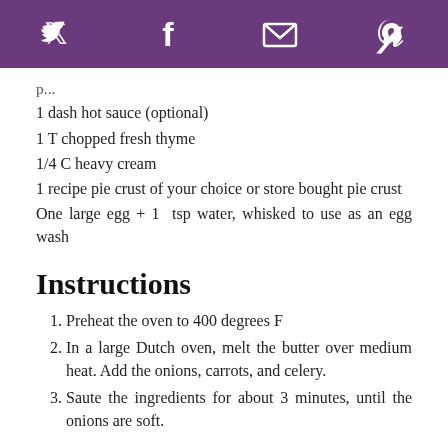Social share icons: Twitter, Facebook, Email, Pinterest
1 dash hot sauce (optional)
1 T chopped fresh thyme
1/4 C heavy cream
1 recipe pie crust of your choice or store bought pie crust
One large egg + 1  tsp water, whisked to use as an egg wash
Instructions
1. Preheat the oven to 400 degrees F
2. In a large Dutch oven, melt the butter over medium heat. Add the onions, carrots, and celery.
3. Saute the ingredients for about 3 minutes, until the onions are soft.